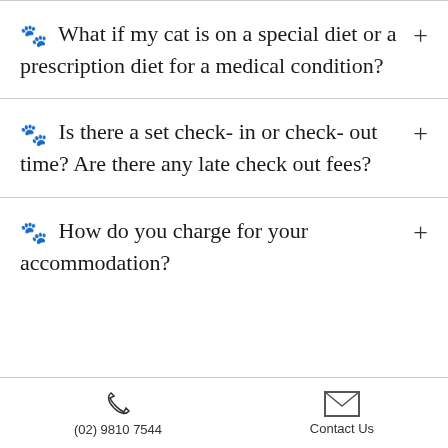🐾 What if my cat is on a special diet or a prescription diet for a medical condition?
🐾 Is there a set check-in or check-out time? Are there any late check out fees?
🐾 How do you charge for your accommodation?
(02) 9810 7544  Contact Us